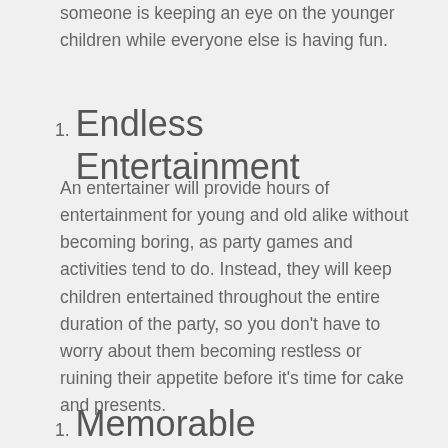someone is keeping an eye on the younger children while everyone else is having fun.
1. Endless Entertainment
An entertainer will provide hours of entertainment for young and old alike without becoming boring, as party games and activities tend to do. Instead, they will keep children entertained throughout the entire duration of the party, so you don't have to worry about them becoming restless or ruining their appetite before it's time for cake and presents.
1. Memorable Memories